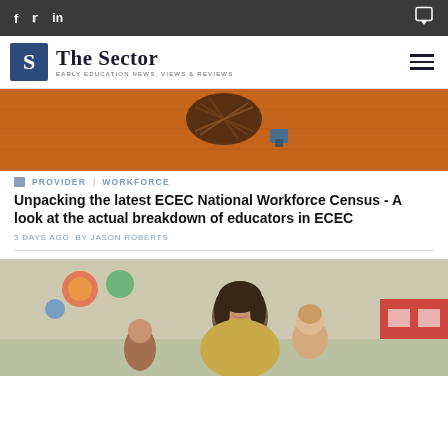The Sector — EARLY EDUCATION NEWS, VIEWS & REVIEWS
[Figure (photo): Close-up photo of wooden floor with a colorful woven basket and children's toys, warm orange tones]
PROVIDER | WORKFORCE
Unpacking the latest ECEC National Workforce Census - A look at the actual breakdown of educators in ECEC
3 DAYS AGO  BY JASON ROBERTS
[Figure (photo): Photo of a female educator smiling with a toddler, classroom setting with colorful decorations in the background]